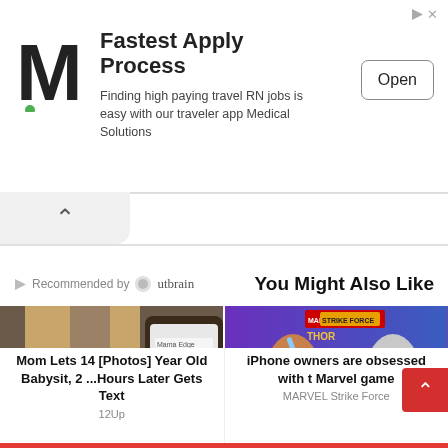[Figure (screenshot): Mobile advertisement banner for Medical Solutions with M logo, headline 'Fastest Apply Process', subtext about travel RN jobs, and Open button]
Recommended by Outbrain
You Might Also Like
[Figure (photo): Young blonde girl next to a phone showing text messages labeled 'Mama Edge']
Mom Lets 14 [Photos] Year Old Babysit, 2 ...Hours Later Gets Text
12Up
[Figure (photo): Marvel Strike Force game advertisement showing Valkyrie and Mighty Thor characters]
iPhone owners are obsessed with the Marvel game
MARVEL Strike Force